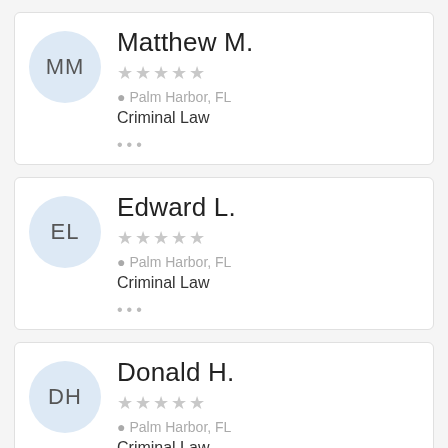MM — Matthew M. | Palm Harbor, FL | Criminal Law
EL — Edward L. | Palm Harbor, FL | Criminal Law
DH — Donald H. | Palm Harbor, FL | Criminal Law